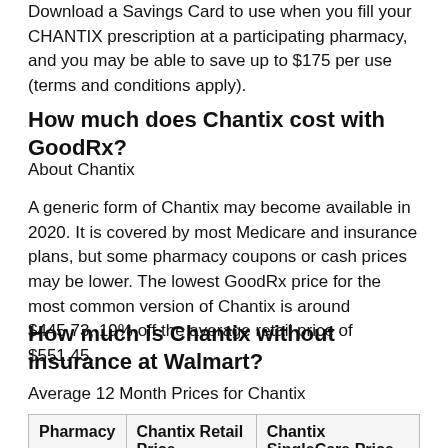Download a Savings Card to use when you fill your CHANTIX prescription at a participating pharmacy, and you may be able to save up to $175 per use (terms and conditions apply).
How much does Chantix cost with GoodRx?
About Chantix
A generic form of Chantix may become available in 2020. It is covered by most Medicare and insurance plans, but some pharmacy coupons or cash prices may be lower. The lowest GoodRx price for the most common version of Chantix is around $445.73, 19% off the average retail price of $551.45.
How much is Chantix without insurance at Walmart?
Average 12 Month Prices for Chantix
| Pharmacy | Chantix Retail Price | Chantix SingleCare Price |
| --- | --- | --- |